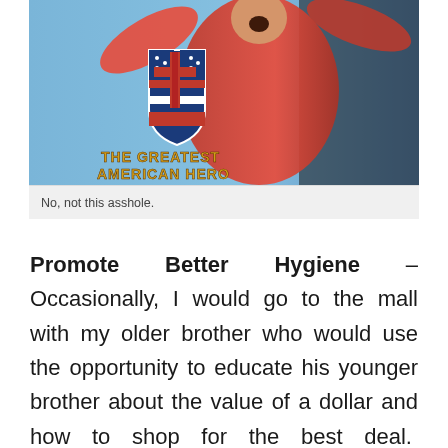[Figure (photo): Photo of The Greatest American Hero TV show — a person in a red superhero suit with arms outstretched, with the show's logo (shield with stars and stripes, red cross, and the text 'The Greatest American Hero') overlaid.]
No, not this asshole.
Promote Better Hygiene – Occasionally, I would go to the mall with my older brother who would use the opportunity to educate his younger brother about the value of a dollar and how to shop for the best deal.  Hahahaha, just kidding!  My older brother was an asshole, and would